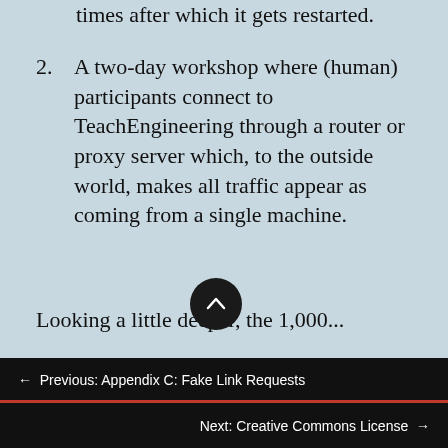times after which it gets restarted.
2. A two-day workshop where (human) participants connect to TeachEngineering through a router or proxy server which, to the outside world, makes all traffic appear as coming from a single machine.
Looking a little deeper, the 1,000...
← Previous: Appendix C: Fake Link Requests
Next: Creative Commons License →